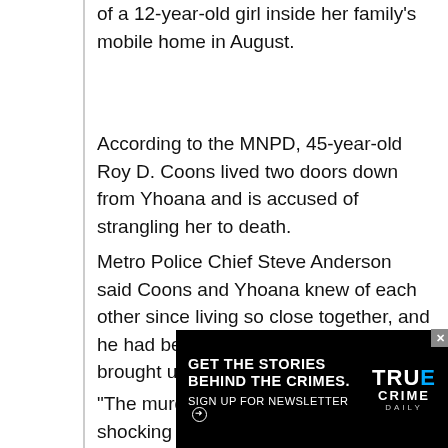of a 12-year-old girl inside her family's mobile home in August.
According to the MNPD, 45-year-old Roy D. Coons lived two doors down from Yhoana and is accused of strangling her to death.
Metro Police Chief Steve Anderson said Coons and Yhoana knew of each other since living so close together, and he had been a suspect since he was brought up to police.
“The murder of Yhoana Arteaga was shocking to this community, including members of this police department,” Chief Steve Anderson said. “This afternoon, we have been able to bring about relief to the Old Dickerson Pike neighborhood and Nashville as a whole. I am grateful to our team of detectives, crime… sts in th…
[Figure (other): Advertisement banner: 'GET THE STORIES BEHIND THE CRIMES. SIGN UP FOR NEWSLETTER' with True Crime Daily logo on black background.]